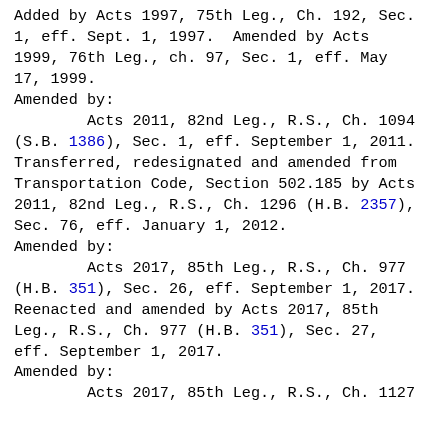Added by Acts 1997, 75th Leg., Ch. 192, Sec. 1, eff. Sept. 1, 1997.  Amended by Acts 1999, 76th Leg., ch. 97, Sec. 1, eff. May 17, 1999.
Amended by:
        Acts 2011, 82nd Leg., R.S., Ch. 1094 (S.B. 1386), Sec. 1, eff. September 1, 2011. Transferred, redesignated and amended from Transportation Code, Section 502.185 by Acts 2011, 82nd Leg., R.S., Ch. 1296 (H.B. 2357), Sec. 76, eff. January 1, 2012.
Amended by:
        Acts 2017, 85th Leg., R.S., Ch. 977 (H.B. 351), Sec. 26, eff. September 1, 2017. Reenacted and amended by Acts 2017, 85th Leg., R.S., Ch. 977 (H.B. 351), Sec. 27, eff. September 1, 2017.
Amended by:
        Acts 2017, 85th Leg., R.S., Ch. 1127